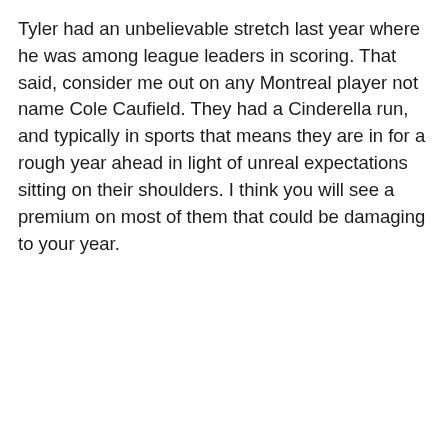Tyler had an unbelievable stretch last year where he was among league leaders in scoring. That said, consider me out on any Montreal player not name Cole Caufield. They had a Cinderella run, and typically in sports that means they are in for a rough year ahead in light of unreal expectations sitting on their shoulders. I think you will see a premium on most of them that could be damaging to your year.